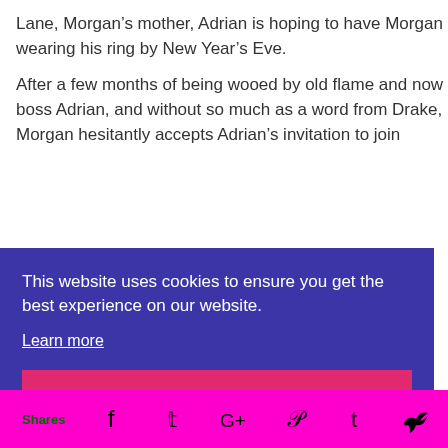Lane, Morgan’s mother, Adrian is hoping to have Morgan wearing his ring by New Year’s Eve.

After a few months of being wooed by old flame and now boss Adrian, and without so much as a word from Drake, Morgan hesitantly accepts Adrian’s invitation to join
This website uses cookies to ensure you get the best experience on our website.
Learn more
Got it!
Shares  f  t  G+  P  t  [crown]